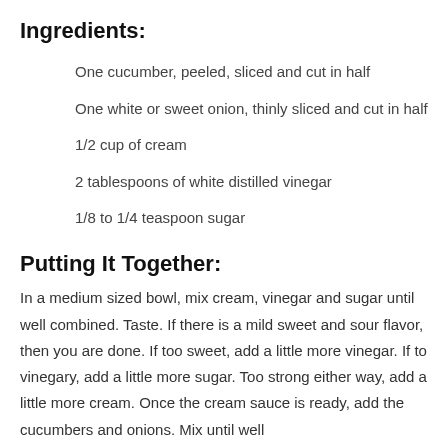Ingredients:
One cucumber, peeled, sliced and cut in half
One white or sweet onion, thinly sliced and cut in half
1/2 cup of cream
2 tablespoons of white distilled vinegar
1/8 to 1/4 teaspoon sugar
Putting It Together:
In a medium sized bowl, mix cream, vinegar and sugar until well combined. Taste. If there is a mild sweet and sour flavor, then you are done. If too sweet, add a little more vinegar. If to vinegary, add a little more sugar. Too strong either way, add a little more cream. Once the cream sauce is ready, add the cucumbers and onions. Mix until well